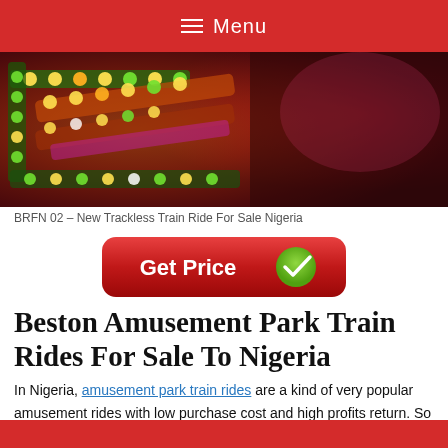≡ Menu
[Figure (photo): Colorful LED-lit amusement park train ride at night, showing bright green, yellow, orange and red LED lights on the train cars against a dark background.]
BRFN 02 – New Trackless Train Ride For Sale Nigeria
[Figure (other): Red rounded button labeled 'Get Price' with a green checkmark circle icon on the right.]
Beston Amusement Park Train Rides For Sale To Nigeria
In Nigeria, amusement park train rides are a kind of very popular amusement rides with low purchase cost and high profits return. So it will be a great business to invest or buy this ride for your amusement park, fairground, carnival, fair, shopping mall or supermarket. Amusement train rides for sale in Nigeria have wide applications. And this rides are also